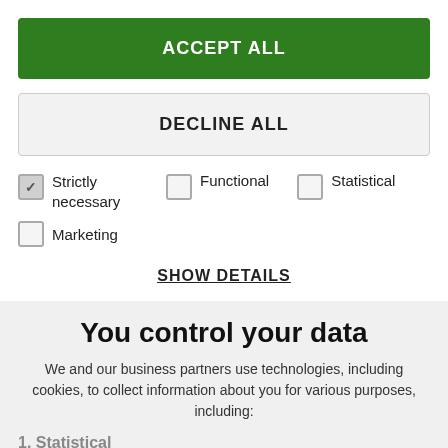ACCEPT ALL
DECLINE ALL
Strictly necessary
Functional
Statistical
Marketing
SHOW DETAILS
You control your data
We and our business partners use technologies, including cookies, to collect information about you for various purposes, including:
1. Statistical
2. Marketing